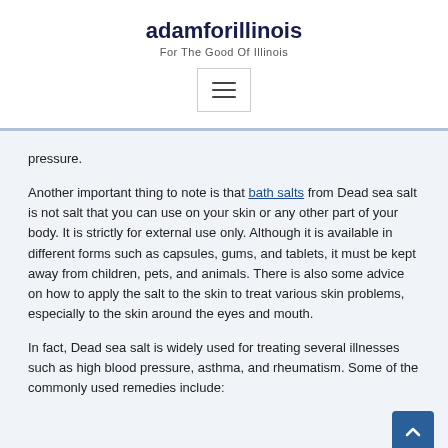adamforillinois
For The Good Of Illinois
pressure.
Another important thing to note is that bath salts from Dead sea salt is not salt that you can use on your skin or any other part of your body. It is strictly for external use only. Although it is available in different forms such as capsules, gums, and tablets, it must be kept away from children, pets, and animals. There is also some advice on how to apply the salt to the skin to treat various skin problems, especially to the skin around the eyes and mouth.
In fact, Dead sea salt is widely used for treating several illnesses such as high blood pressure, asthma, and rheumatism. Some of the commonly used remedies include: